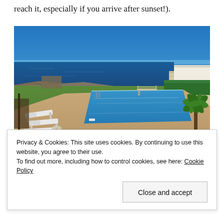reach it, especially if you arrive after sunset!).
[Figure (photo): Outdoor swimming pool with diving board, surrounded by sun loungers and palm trees, overlooking the Mediterranean sea under a clear blue sky.]
Privacy & Cookies: This site uses cookies. By continuing to use this website, you agree to their use.
To find out more, including how to control cookies, see here: Cookie Policy
Close and accept